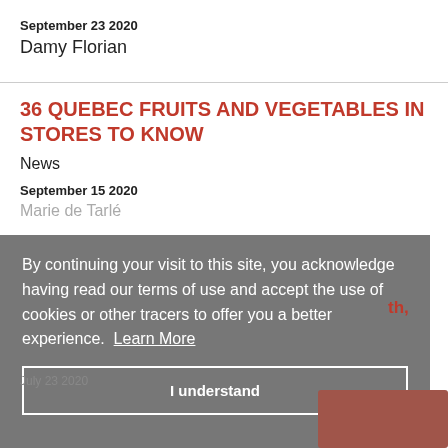September 23 2020
Damy Florian
36 QUEBEC FRUITS AND VEGETABLES IN STORES TO KNOW
News
September 15 2020
Marie de Tarlé
By continuing your visit to this site, you acknowledge having read our terms of use and accept the use of cookies or other tracers to offer you a better experience. Learn More
I understand
July 23 2020